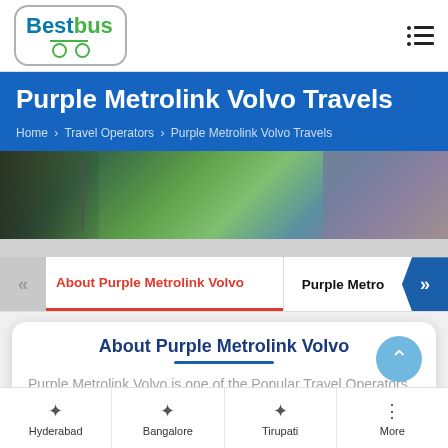BestBus logo and navigation menu
Purple Metrolink Volvo Travels
Home > Travel Operators > Purple Metrolink Volvo Travels
[Figure (photo): Aerial photo of a resort or amusement park with green landscaping, buildings, and colorful attractions]
About Purple Metrolink Volvo | Purple Metro
About Purple Metrolink Volvo
Purple Metrolink Volvo is one of the Popular Travel Operators in India and providing bus services across India. This travel
Hyderabad   Bangalore   Tirupati   More